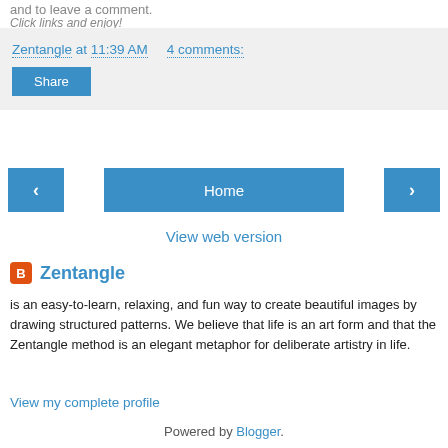and to leave a comment.
Click links and enjoy!
Zentangle at 11:39 AM   4 comments:
Share
Home
View web version
Zentangle
is an easy-to-learn, relaxing, and fun way to create beautiful images by drawing structured patterns. We believe that life is an art form and that the Zentangle method is an elegant metaphor for deliberate artistry in life.
View my complete profile
Powered by Blogger.